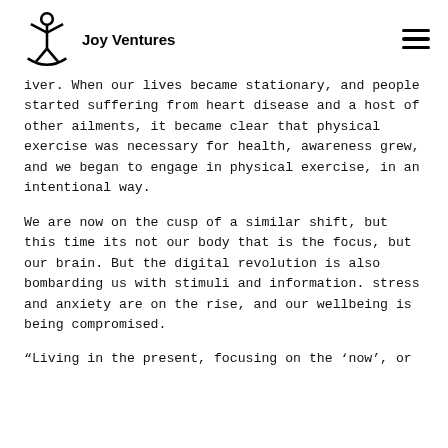Joy Ventures
iver. When our lives became stationary, and people started suffering from heart disease and a host of other ailments, it became clear that physical exercise was necessary for health, awareness grew, and we began to engage in physical exercise, in an intentional way.
We are now on the cusp of a similar shift, but this time its not our body that is the focus, but our brain. But the digital revolution is also bombarding us with stimuli and information. stress and anxiety are on the rise, and our wellbeing is being compromised.
“Living in the present, focusing on the ‘now’, or mindfulness, has proven scientifically to...